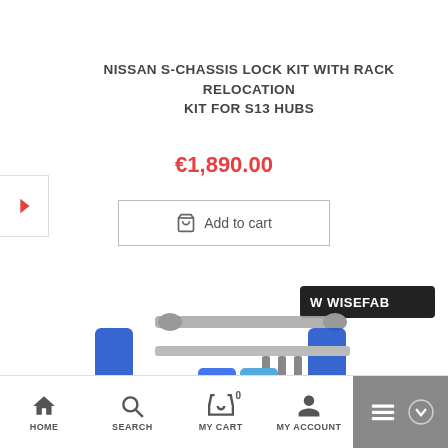NISSAN S-CHASSIS LOCK KIT WITH RACK RELOCATION KIT FOR S13 HUBS
€1,890.00
Add to cart
[Figure (photo): Product photo of Wisefab Nissan S-Chassis lock kit with rack relocation kit, showing blue anodized suspension components and silver metal brackets laid out on white background. Wisefab logo visible in upper right of image.]
HOME   SEARCH   MY CART 0   MY ACCOUNT